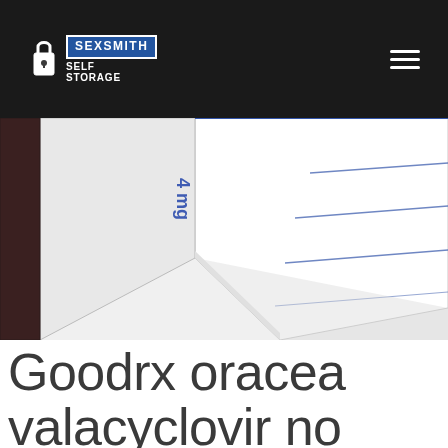SEXSMITH SELF STORAGE
[Figure (photo): Close-up photo of a white ring binder/notebook showing the spine and ruled pages at an angle. Blue text visible on spine reading what appears to be '4 mg'. Lined pages visible with blue ruled lines.]
Goodrx oracea valacyclovir no